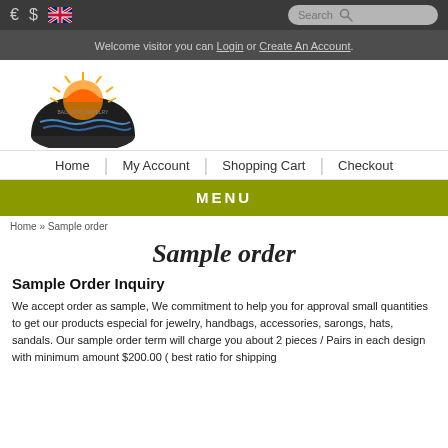€  $  [UK flag]  Search
Welcome visitor you can Login or Create An Account.
[Figure (logo): Bali Latin Jewelry sunset logo — a stylized sun rising over a dark dome shape with wavy lines below, in orange and blue tones]
Home | My Account | Shopping Cart | Checkout
MENU
Home » Sample order
Sample order
Sample Order Inquiry
We accept order as sample, We commitment to help you for approval small quantities to get our products especial for jewelry, handbags, accessories, sarongs, hats, sandals. Our sample order term will charge you about 2 pieces / Pairs in each design with minimum amount $200.00 ( best ratio for shipping